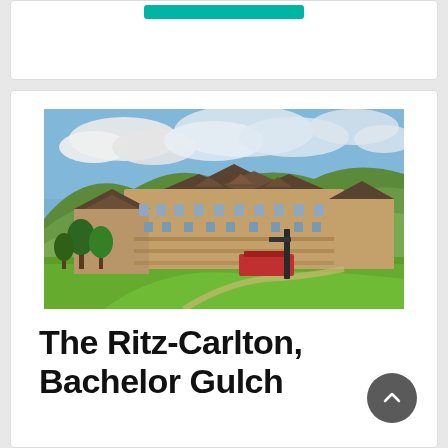[Figure (photo): Aerial/wide shot of The Ritz-Carlton Bachelor Gulch resort, a large mountain lodge-style building surrounded by green hills, trees, and a clear summer sky with clouds.]
The Ritz-Carlton, Bachelor Gulch